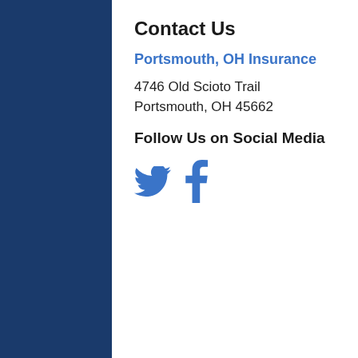Contact Us
Portsmouth, OH Insurance
4746 Old Scioto Trail
Portsmouth, OH 45662
Follow Us on Social Media
[Figure (infographic): Twitter bird icon and Facebook 'f' icon in blue]
We offer solutions to keep you moving safely.
Get a Quote
Trucking Compliance